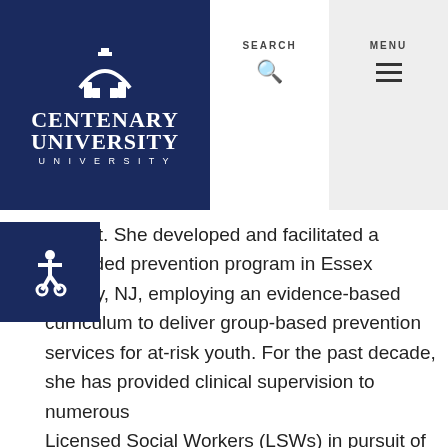[Figure (logo): Centenary University logo — white arch/building icon above 'CENTENARY UNIVERSITY' text on navy blue background]
SEARCH  MENU
atment.  She developed and facilitated a nt-funded prevention program in Essex County, NJ, employing an evidence-based curriculum to deliver group-based prevention services for at-risk youth.  For the past decade, she has provided clinical supervision to numerous Licensed Social Workers (LSWs) in pursuit of their NJ Clinical Social Work Licensure (LCSW).
Professor Daly also has extensive experience as a social work field educator.  From 2004-2012